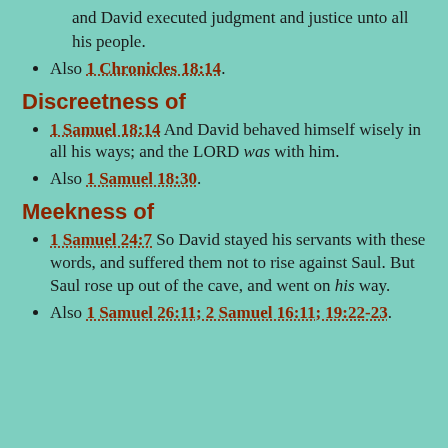and David executed judgment and justice unto all his people.
Also 1 Chronicles 18:14.
Discreetness of
1 Samuel 18:14 And David behaved himself wisely in all his ways; and the LORD was with him.
Also 1 Samuel 18:30.
Meekness of
1 Samuel 24:7 So David stayed his servants with these words, and suffered them not to rise against Saul. But Saul rose up out of the cave, and went on his way.
Also 1 Samuel 26:11; 2 Samuel 16:11; 19:22-23.